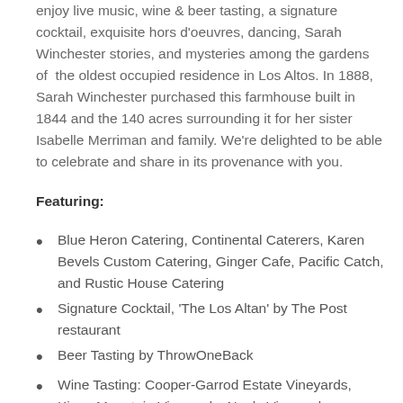enjoy live music, wine & beer tasting, a signature cocktail, exquisite hors d'oeuvres, dancing, Sarah Winchester stories, and mysteries among the gardens of the oldest occupied residence in Los Altos. In 1888, Sarah Winchester purchased this farmhouse built in 1844 and the 140 acres surrounding it for her sister Isabelle Merriman and family. We're delighted to be able to celebrate and share in its provenance with you.
Featuring:
Blue Heron Catering, Continental Caterers, Karen Bevels Custom Catering, Ginger Cafe, Pacific Catch, and Rustic House Catering
Signature Cocktail, 'The Los Altan' by The Post restaurant
Beer Tasting by ThrowOneBack
Wine Tasting: Cooper-Garrod Estate Vineyards, Kings Mountain Vineyards, Neely Vineyards, Thomas Fogarty